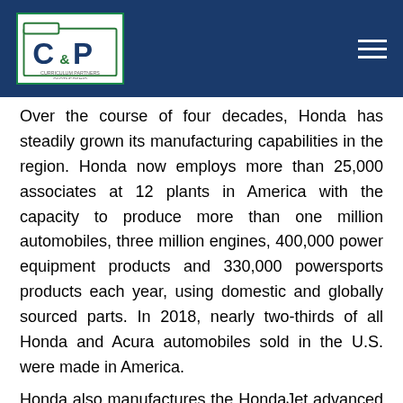CCP logo and navigation header
Over the course of four decades, Honda has steadily grown its manufacturing capabilities in the region. Honda now employs more than 25,000 associates at 12 plants in America with the capacity to produce more than one million automobiles, three million engines, 400,000 power equipment products and 330,000 powersports products each year, using domestic and globally sourced parts. In 2018, nearly two-thirds of all Honda and Acura automobiles sold in the U.S. were made in America.
Honda also manufactures the HondaJet advanced light jet and GE Honda HF120 turbofan engines in America. Cumulatively, Honda has invested more than billion in its American manufacturing capabilities